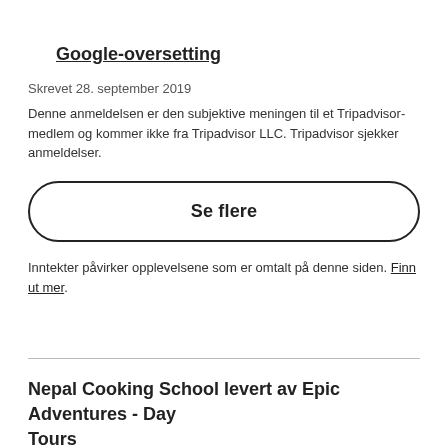Google-oversetting
Skrevet 28. september 2019
Denne anmeldelsen er den subjektive meningen til et Tripadvisor-medlem og kommer ikke fra Tripadvisor LLC. Tripadvisor sjekker anmeldelser.
Se flere
Inntekter påvirker opplevelsene som er omtalt på denne siden. Finn ut mer.
Nepal Cooking School levert av Epic Adventures - Day Tours